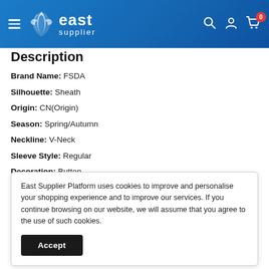[Figure (logo): East Supplier website header with logo, hamburger menu, search, account, and cart icons on blue gradient background]
Description
Brand Name: FSDA
Silhouette: Sheath
Origin: CN(Origin)
Season: Spring/Autumn
Neckline: V-Neck
Sleeve Style: Regular
Decoration: Button
East Supplier Platform uses cookies to improve and personalise your shopping experience and to improve our services. If you continue browsing on our website, we will assume that you agree to the use of such cookies.
Closure Type: Single Breasted